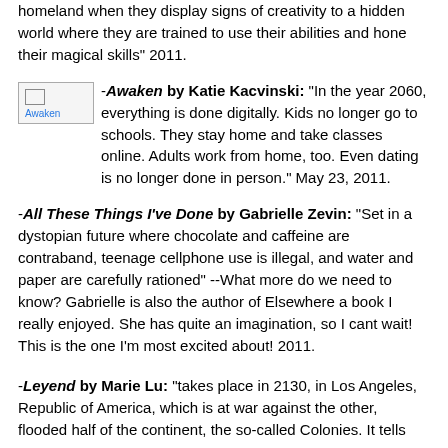homeland when they display signs of creativity to a hidden world where they are trained to use their abilities and hone their magical skills" 2011.
-Awaken by Katie Kacvinski: "In the year 2060, everything is done digitally. Kids no longer go to schools. They stay home and take classes online. Adults work from home, too. Even dating is no longer done in person." May 23, 2011.
-All These Things I've Done by Gabrielle Zevin: "Set in a dystopian future where chocolate and caffeine are contraband, teenage cellphone use is illegal, and water and paper are carefully rationed" --What more do we need to know? Gabrielle is also the author of Elsewhere a book I really enjoyed. She has quite an imagination, so I cant wait! This is the one I'm most excited about! 2011.
-Leyend by Marie Lu: "takes place in 2130, in Los Angeles, Republic of America, which is at war against the other, flooded half of the continent, the so-called Colonies. It tells